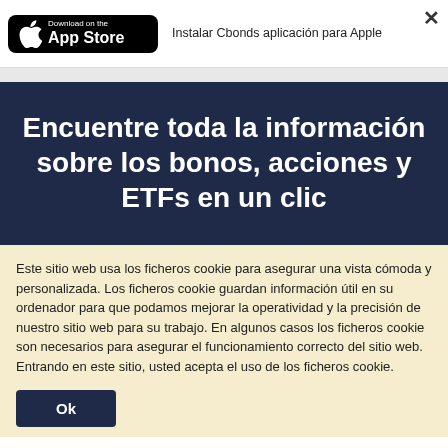[Figure (screenshot): App Store download button (black rounded rectangle with Apple logo, 'Download on the App Store' text)]
Instalar Cbonds aplicación para Apple
Encuentre toda la información sobre los bonos, acciones y ETFs en un clic
Este sitio web usa los ficheros cookie para asegurar una vista cómoda y personalizada. Los ficheros cookie guardan información útil en su ordenador para que podamos mejorar la operatividad y la precisión de nuestro sitio web para su trabajo. En algunos casos los ficheros cookie son necesarios para asegurar el funcionamiento correcto del sitio web. Entrando en este sitio, usted acepta el uso de los ficheros cookie.
Ok